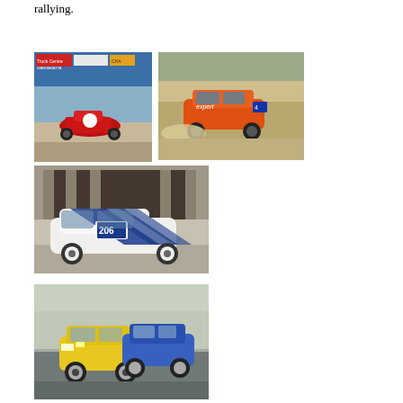rallying.
[Figure (photo): Red Ford Sierra racing car on a circuit track with advertising hoardings in the background including Truck Centre Wangaratta and Champion banners.]
[Figure (photo): Orange Expert-sponsored rally car kicking up dust on a dirt rally stage.]
[Figure (photo): White and blue Ford RS200 rally car numbered 206 parked in front of a building.]
[Figure (photo): Yellow Ford Escort Mk2 and blue Ford Escort racing on a circuit track.]